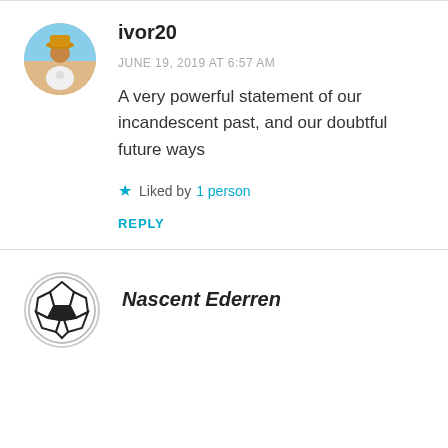[Figure (photo): Circular avatar photo of user ivor20, showing a person wearing a hat outdoors on a beach]
ivor20
JUNE 19, 2019 AT 6:57 AM
A very powerful statement of our incandescent past, and our doubtful future ways
★ Liked by 1 person
REPLY
[Figure (logo): Circular logo/avatar for Nascent Ederren, showing a geometric soccer-ball-like pattern with black and white shapes]
Nascent Ederren